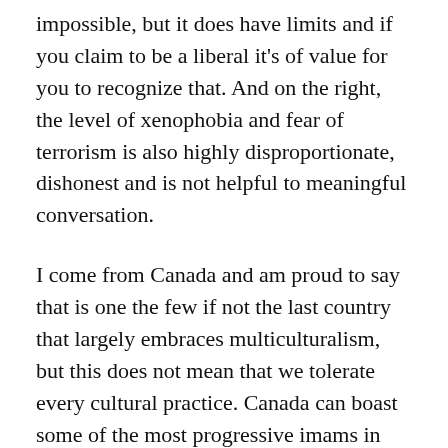impossible, but it does have limits and if you claim to be a liberal it's of value for you to recognize that.  And on the right, the level of xenophobia and fear of terrorism is also highly disproportionate, dishonest and is not helpful to meaningful conversation.
I come from Canada and am proud to say that is one the few if not the last country that largely embraces multiculturalism, but this does not mean that we tolerate every cultural practice.  Canada can boast some of the most progressive imams in Islamic society who actively speak out against Islamic extremism.  I wonder if Canada's inclusive attitude towards different cultures has anything to do with that?  And I am not under any illusions that racism or bigotry is absent in Canada.  It's still a problem.  It takes time to solve such problems.